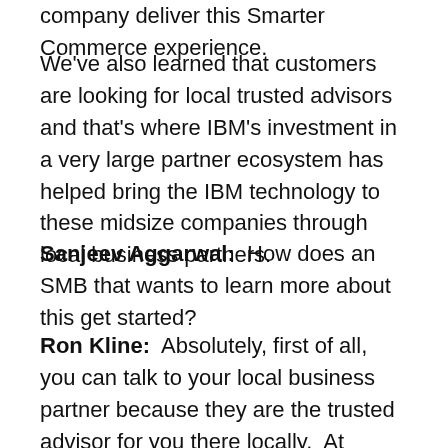company deliver this Smarter Commerce experience.
We've also learned that customers are looking for local trusted advisors and that's where IBM's investment in a very large partner ecosystem has helped bring the IBM technology to these midsize companies through local business partners.
Sanjeev Aggarwal: How does an SMB that wants to learn more about this get started?
Ron Kline: Absolutely, first of all, you can talk to your local business partner because they are the trusted advisor for you there locally. At www.IBM.com/smartercommerce you can learn about what Smarted Commerce is and get a bigger picture